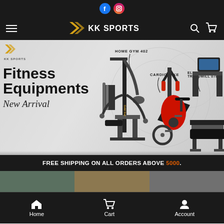Social media icons: Facebook, Instagram
[Figure (screenshot): KK Sports website header with logo, hamburger menu, search and cart icons]
[Figure (photo): Hero banner showing fitness equipment: Home Gym 402, Cardio Bike, Electric Treadmill 078. Text reads: Fitness Equipments New Arrival]
FREE SHIPPING ON ALL ORDERS ABOVE 5000.
[Figure (photo): Product preview strip showing partial product images]
Home  Cart  Account